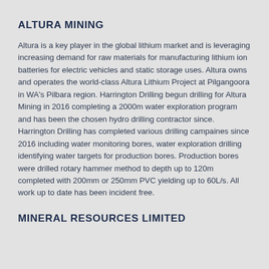ALTURA MINING
Altura is a key player in the global lithium market and is leveraging increasing demand for raw materials for manufacturing lithium ion batteries for electric vehicles and static storage uses. Altura owns and operates the world-class Altura Lithium Project at Pilgangoora in WA's Pilbara region. Harrington Drilling begun drilling for Altura Mining in 2016 completing a 2000m water exploration program and has been the chosen hydro drilling contractor since. Harrington Drilling has completed various drilling campaines since 2016 including water monitoring bores, water exploration drilling identifying water targets for production bores. Production bores were drilled rotary hammer method to depth up to 120m completed with 200mm or 250mm PVC yielding up to 60L/s. All work up to date has been incident free.
MINERAL RESOURCES LIMITED